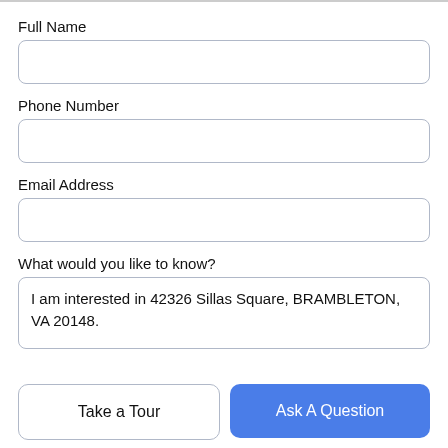Full Name
[Figure (other): Empty text input field for Full Name]
Phone Number
[Figure (other): Empty text input field for Phone Number]
Email Address
[Figure (other): Empty text input field for Email Address]
What would you like to know?
[Figure (other): Textarea with text: I am interested in 42326 Sillas Square, BRAMBLETON, VA 20148.]
Take a Tour
Ask A Question